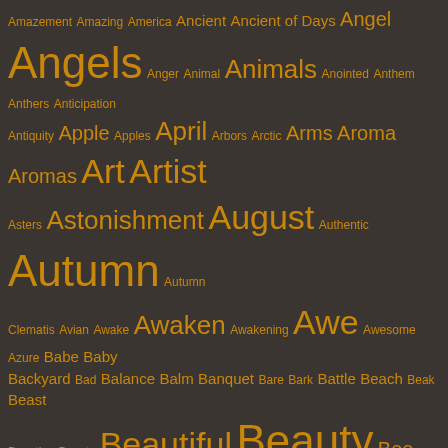[Figure (other): Tag cloud with words related to nature, faith, and everyday life, displayed in varying font sizes in orange/amber color on a dark brown background. Words include: Amazement, Amazing, America, Ancient, Ancient of Days, Angel, Angels, Anger, Animal, Animals, Anointed, Anthem, Anthers, Anticipation, Antiquity, Apple, Apples, April, Arbors, Arctic, Arms, Aroma, Aromas, Art, Artist, Asters, Astonishment, August, Authentic, Autumn, Autumn, Clematis, Avian, Awake, Awaken, Awakening, Awe, Awesome, Azure, Babe, Baby, Backyard, Bad, Balance, Balm, Banquet, Bare, Bark, Battle, Beach, Beak, Beast, Beasties, Beasts, Beautiful, Beauty, Bee, Bees, Beetles, Beginning, Beginnings, Behold, Being, Belief, Beliefs, Believe, Bells, Beloved, Benediction, Benedictions, Benefactor, Berries, Bible, Big, Bird, Birdhouses, Birds, Birdsong, Birth, Birthday, Black, Blanket, Blaze, Blazing, Bless, Blessed, Blessing, Blessings, Bliss, Blog, Blood, Bloom, Bloomed, Blooming, Blooms, Blossom, Blossoming, Blossoms, Blue, Bluebells, Bluebonnets, Blues, Blustery, Body, Bold, Bonds, Bones, Book, Books, Born, Bounty, Bow, Bowl, Brain, Branch, Branches, Brave, Bread, Breath, Breathtaking, ...]